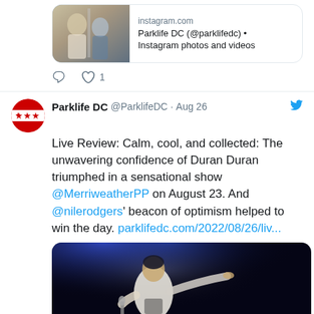[Figure (screenshot): Twitter/social media feed screenshot showing two tweets from Parklife DC. First tweet shows an Instagram link card with a concert photo thumbnail. Second tweet from @ParklifeDC dated Aug 26 with text about Duran Duran live review at Merriweather, with a concert photo of a performer pointing.]